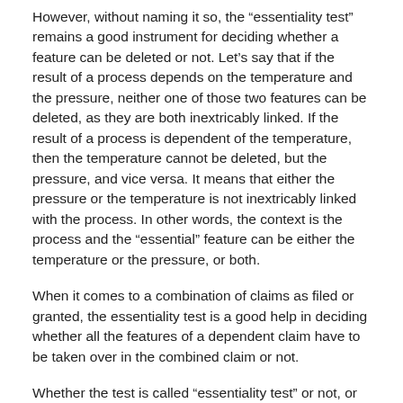However, without naming it so, the “essentiality test” remains a good instrument for deciding whether a feature can be deleted or not. Let’s say that if the result of a process depends on the temperature and the pressure, neither one of those two features can be deleted, as they are both inextricably linked. If the result of a process is dependent of the temperature, then the temperature cannot be deleted, but the pressure, and vice versa. It means that either the pressure or the temperature is not inextricably linked with the process. In other words, the context is the process and the “essential” feature can be either the temperature or the pressure, or both.
When it comes to a combination of claims as filed or granted, the essentiality test is a good help in deciding whether all the features of a dependent claim have to be taken over in the combined claim or not.
Whether the test is called “essentiality test” or not, or even another name is given to it, is in my opinion not relevant. One has just to look what the person skilled in the art derives directly and unambiguously from the original disclosure. And here we are back to the gold standard of G 2/10…..
We should not fight for or against a label, but look at what is said in